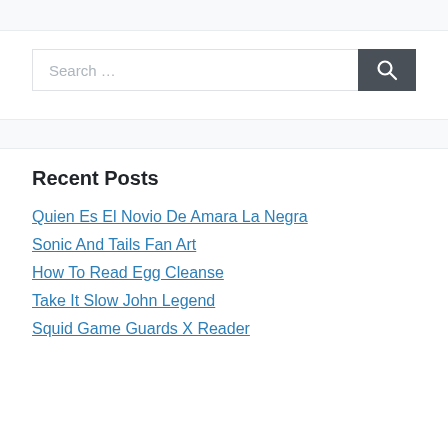[Figure (other): Search bar with text input field showing placeholder 'Search ...' and a dark search button with magnifying glass icon]
Recent Posts
Quien Es El Novio De Amara La Negra
Sonic And Tails Fan Art
How To Read Egg Cleanse
Take It Slow John Legend
Squid Game Guards X Reader